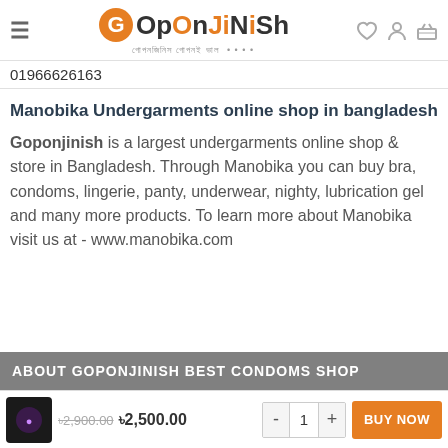GoponJiNiSh — header with logo, hamburger menu, and icons
01966626163
Manobika Undergarments online shop in bangladesh
Goponjinish is a largest undergarments online shop & store in Bangladesh. Through Manobika you can buy bra, condoms, lingerie, panty, underwear, nighty, lubrication gel and many more products. To learn more about Manobika visit us at - www.manobika.com
ABOUT GOPONJINISH BEST CONDOMS SHOP
৳2,900.00  ৳2,500.00  - 1 +  BUY NOW